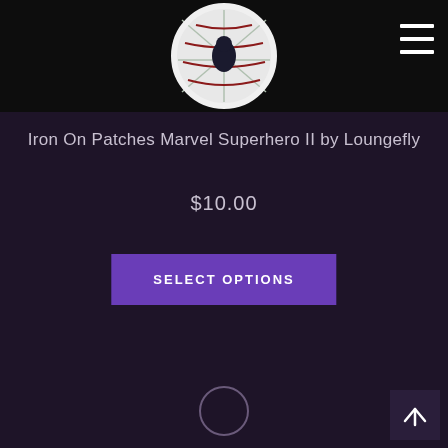[Figure (photo): Product image of Marvel Superhero Iron-On patch (spider-man themed), circular patch with spider web design in red and white, shown on dark background]
Iron On Patches Marvel Superhero II by Loungefly
$10.00
SELECT OPTIONS